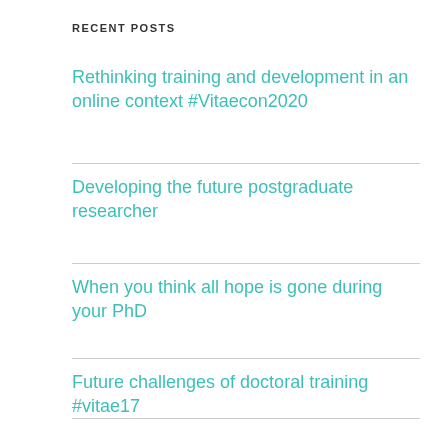RECENT POSTS
Rethinking training and development in an online context #Vitaecon2020
Developing the future postgraduate researcher
When you think all hope is gone during your PhD
Future challenges of doctoral training #vitae17
Open Access, or: The internet is not going away #openaccess